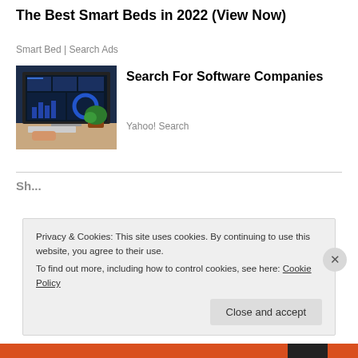The Best Smart Beds in 2022 (View Now)
Smart Bed | Search Ads
[Figure (photo): Advertisement image showing a computer workstation with analytics dashboards on screen]
Search For Software Companies
Yahoo! Search
Privacy & Cookies: This site uses cookies. By continuing to use this website, you agree to their use.
To find out more, including how to control cookies, see here: Cookie Policy
Close and accept